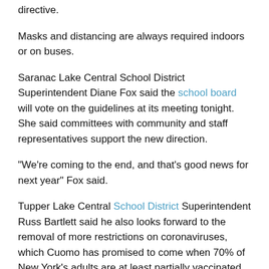directive.
Masks and distancing are always required indoors or on buses.
Saranac Lake Central School District Superintendent Diane Fox said the school board will vote on the guidelines at its meeting tonight. She said committees with community and staff representatives support the new direction.
“We’re coming to the end, and that’s good news for next year” Fox said.
Tupper Lake Central School District Superintendent Russ Bartlett said he also looks forward to the removal of more restrictions on coronaviruses, which Cuomo has promised to come when 70% of New York’s adults are at least partially vaccinated.